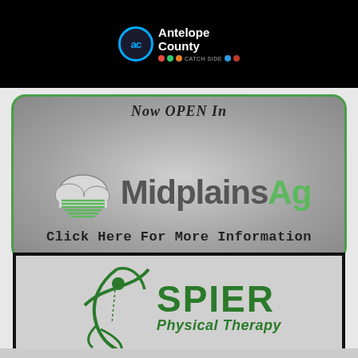[Figure (logo): Antelope County logo with 'ac' blue circle and colored dots on black header bar]
[Figure (logo): MidplainsAg banner with cloud logo, 'Now Open In' text, and 'Click Here For More Information' call to action on silver gradient rounded rectangle with green border]
[Figure (logo): Spier Physical Therapy logo with green athlete figure and green bold SPIER text with Physical Therapy italic subtitle on gray background in black border box]